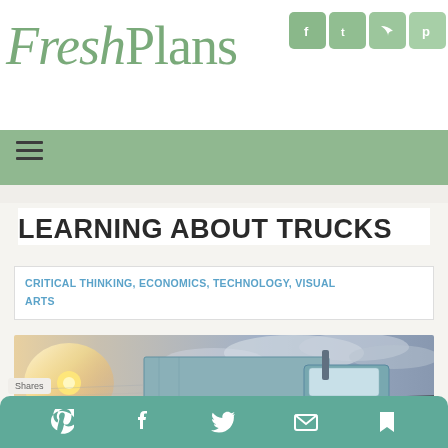FreshPlans
[Figure (logo): FreshPlans logo in green serif/italic font with social media icons (Facebook, Twitter, RSS, Pinterest) top right]
[Figure (infographic): Green navigation bar with hamburger menu icon (three horizontal lines)]
LEARNING ABOUT TRUCKS
CRITICAL THINKING, ECONOMICS, TECHNOLOGY, VISUAL ARTS
[Figure (photo): A teal/blue semi-truck on a highway with motion blur, bright sun flare on the left, dramatic cloudy sky]
Shares